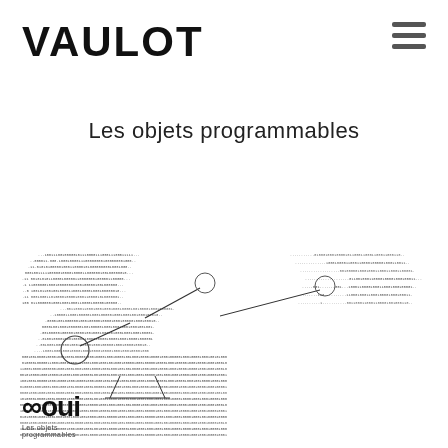VAULOT
Les objets programmables
[Figure (illustration): ASCII/text art illustration of a drone (UAV) made from dense binary code (0s and 1s), rendered in black and white. The drone silhouette is formed by tiny text characters creating a detailed image of an unmanned aerial vehicle with rotors.]
∞oui
Les objets programmables